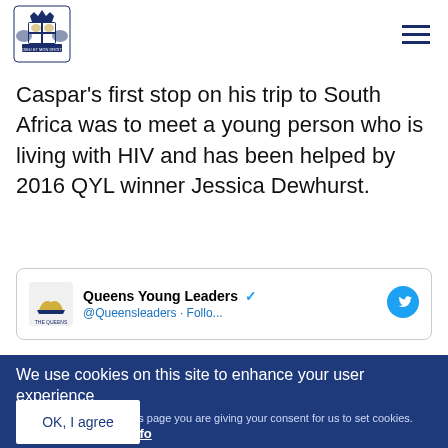[Figure (logo): Royal coat of arms / Queens Young Leaders logo in navy blue]
Caspar's first stop on his trip to South Africa was to meet a young person who is living with HIV and has been helped by 2016 QYL winner Jessica Dewhurst.
[Figure (screenshot): Queens Young Leaders Twitter card with verified badge and Twitter bird icon]
We use cookies on this site to enhance your user experience
By clicking any link on this page you are giving your consent for us to set cookies. No, give me more info
OK, I agree